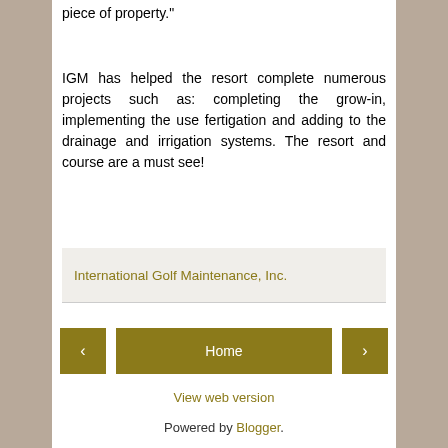piece of property."
IGM has helped the resort complete numerous projects such as: completing the grow-in, implementing the use fertigation and adding to the drainage and irrigation systems. The resort and course are a must see!
International Golf Maintenance, Inc.
< Home >
View web version
Powered by Blogger.